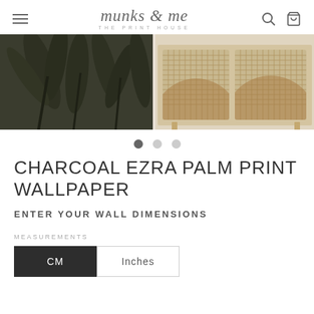munks & me THE PRINT HOUSE
[Figure (photo): Product photo showing charcoal palm print wallpaper on the left and a rattan/cane sideboard cabinet on the right]
CHARCOAL EZRA PALM PRINT WALLPAPER
ENTER YOUR WALL DIMENSIONS
MEASUREMENTS
CM  Inches